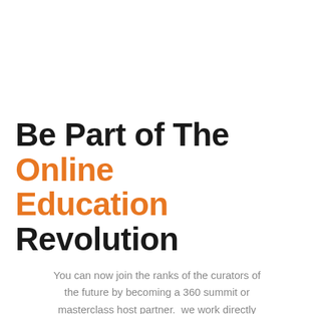Be Part of The Online Education Revolution
You can now join the ranks of the curators of the future by becoming a 360 summit or masterclass host partner.  we work directly with our partners to produce amazing online events and build a tribe.